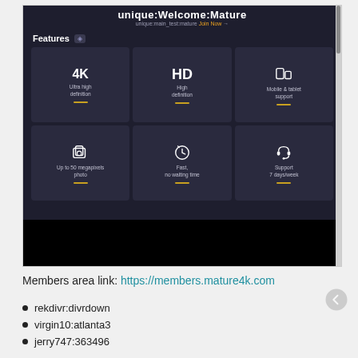[Figure (screenshot): Screenshot of mature4k.com features page showing Features section with 6 feature tiles: Ultra high definition (4K), High definition (HD), Mobile & tablet support, Up to 50 megapixels photo, Fast no waiting time, Support 7 days/week]
Members area link: https://members.mature4k.com
rekdivr:divrdown
virgin10:atlanta3
jerry747:363496